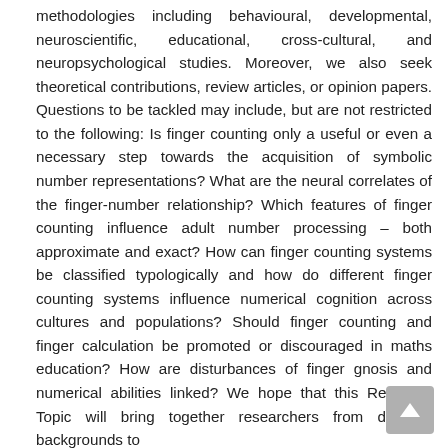methodologies including behavioural, developmental, neuroscientific, educational, cross-cultural, and neuropsychological studies. Moreover, we also seek theoretical contributions, review articles, or opinion papers. Questions to be tackled may include, but are not restricted to the following: Is finger counting only a useful or even a necessary step towards the acquisition of symbolic number representations? What are the neural correlates of the finger-number relationship? Which features of finger counting influence adult number processing – both approximate and exact? How can finger counting systems be classified typologically and how do different finger counting systems influence numerical cognition across cultures and populations? Should finger counting and finger calculation be promoted or discouraged in maths education? How are disturbances of finger gnosis and numerical abilities linked? We hope that this Research Topic will bring together researchers from different backgrounds to